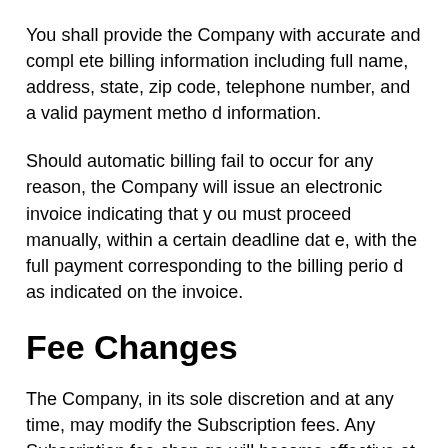You shall provide the Company with accurate and complete billing information including full name, address, state, zip code, telephone number, and a valid payment method information.
Should automatic billing fail to occur for any reason, the Company will issue an electronic invoice indicating that you must proceed manually, within a certain deadline date, with the full payment corresponding to the billing period as indicated on the invoice.
Fee Changes
The Company, in its sole discretion and at any time, may modify the Subscription fees. Any Subscription fee change will become effective at the end of the then-current S